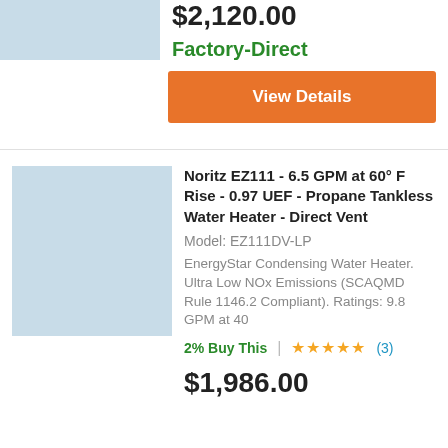$2,120.00
Factory-Direct
View Details
[Figure (photo): Product image placeholder (light blue rectangle) for water heater]
Noritz EZ111 - 6.5 GPM at 60° F Rise - 0.97 UEF - Propane Tankless Water Heater - Direct Vent
Model: EZ111DV-LP
EnergyStar Condensing Water Heater. Ultra Low NOx Emissions (SCAQMD Rule 1146.2 Compliant). Ratings: 9.8 GPM at 40
2% Buy This | ★★★★★ (3)
$1,986.00